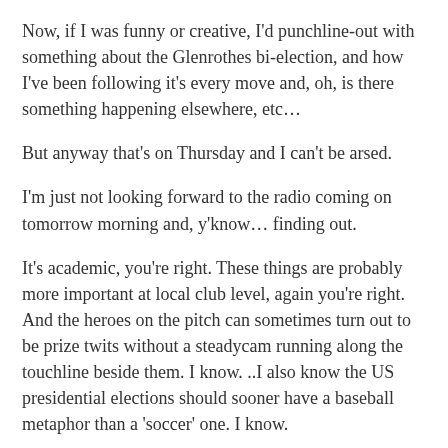Now, if I was funny or creative, I'd punchline-out with something about the Glenrothes bi-election, and how I've been following it's every move and, oh, is there something happening elsewhere, etc…
But anyway that's on Thursday and I can't be arsed.
I'm just not looking forward to the radio coming on tomorrow morning and, y'know… finding out.
It's academic, you're right. These things are probably more important at local club level, again you're right. And the heroes on the pitch can sometimes turn out to be prize twits without a steadycam running along the touchline beside them. I know. ..I also know the US presidential elections should sooner have a baseball metaphor than a 'soccer' one. I know.
But my point is, we get very excited about England's